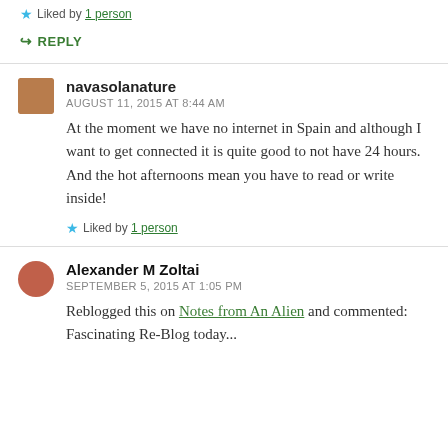★ Liked by 1 person
↪ REPLY
navasolanature
AUGUST 11, 2015 AT 8:44 AM
At the moment we have no internet in Spain and although I want to get connected it is quite good to not have 24 hours. And the hot afternoons mean you have to read or write inside!
★ Liked by 1 person
Alexander M Zoltai
SEPTEMBER 5, 2015 AT 1:05 PM
Reblogged this on Notes from An Alien and commented: Fascinating Re-Blog today...